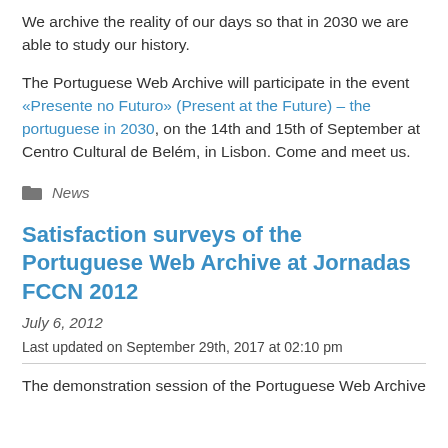We archive the reality of our days so that in 2030 we are able to study our history.
The Portuguese Web Archive will participate in the event «Presente no Futuro» (Present at the Future) – the portuguese in 2030, on the 14th and 15th of September at Centro Cultural de Belém, in Lisbon. Come and meet us.
News
Satisfaction surveys of the Portuguese Web Archive at Jornadas FCCN 2012
July 6, 2012
Last updated on September 29th, 2017 at 02:10 pm
The demonstration session of the Portuguese Web Archive